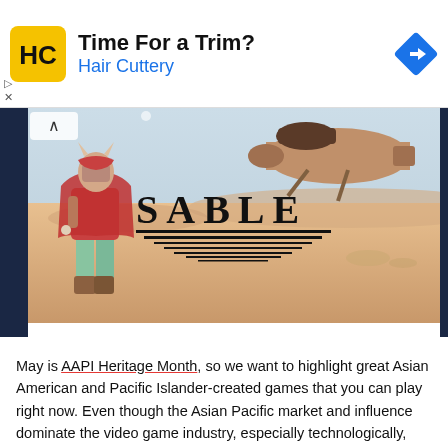[Figure (infographic): Hair Cuttery advertisement banner with yellow HC logo, 'Time For a Trim?' headline, 'Hair Cuttery' subtitle in blue, and a blue diamond navigation icon on the right. Play and close (X) buttons on the left below.]
[Figure (illustration): Game key art for 'SABLE' showing an illustrated character wearing a red cloak and horned mask standing in a desert landscape, with a large cylindrical vehicle/cannon in the background. The word 'SABLE' appears in bold serif letters with decorative horizontal lines beneath it.]
May is AAPI Heritage Month, so we want to highlight great Asian American and Pacific Islander-created games that you can play right now. Even though the Asian Pacific market and influence dominate the video game industry, especially technologically, they are still critically underrepresented in media. Asian American